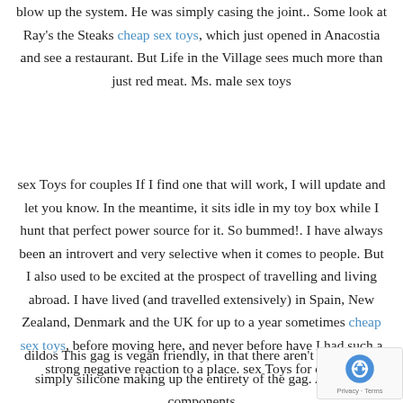blow up the system. He was simply casing the joint.. Some look at Ray's the Steaks cheap sex toys, which just opened in Anacostia and see a restaurant. But Life in the Village sees much more than just red meat. Ms. male sex toys
sex Toys for couples If I find one that will work, I will update and let you know. In the meantime, it sits idle in my toy box while I hunt that perfect power source for it. So bummed!. I have always been an introvert and very selective when it comes to people. But I also used to be excited at the prospect of travelling and living abroad. I have lived (and travelled extensively) in Spain, New Zealand, Denmark and the UK for up to a year sometimes cheap sex toys, before moving here, and never before have I had such a strong negative reaction to a place. sex Toys for couples
dildos This gag is vegan friendly, in that there aren't any leather simply silicone making up the entirety of the gag. All of the components